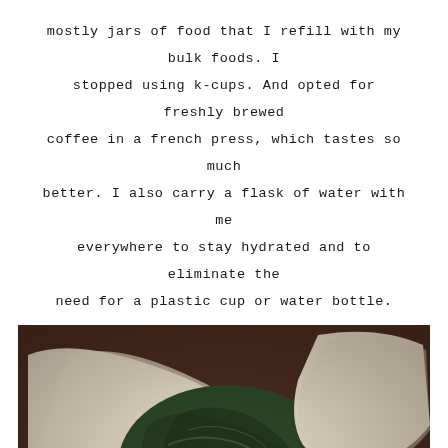mostly jars of food that I refill with my bulk foods. I stopped using k-cups. And opted for freshly brewed coffee in a french press, which tastes so much better. I also carry a flask of water with me everywhere to stay hydrated and to eliminate the need for a plastic cup or water bottle.
[Figure (photo): Photo of reusable cloth produce bags filled with leafy green vegetables (kale and other greens) and some other produce, laid out on a dark brown surface. The bags are off-white/cream colored muslin fabric with various sizes.]